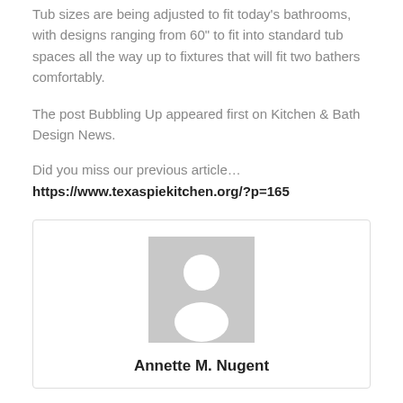Tub sizes are being adjusted to fit today's bathrooms, with designs ranging from 60" to fit into standard tub spaces all the way up to fixtures that will fit two bathers comfortably.
The post Bubbling Up appeared first on Kitchen & Bath Design News.
Did you miss our previous article…
https://www.texaspiekitchen.org/?p=165
[Figure (other): Author profile placeholder avatar image for Annette M. Nugent]
Annette M. Nugent